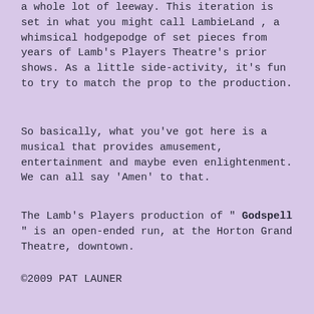a whole lot of leeway. This iteration is set in what you might call LambieLand , a whimsical hodgepodge of set pieces from years of Lamb's Players Theatre's prior shows. As a little side-activity, it's fun to try to match the prop to the production.
So basically, what you've got here is a musical that provides amusement, entertainment and maybe even enlightenment. We can all say 'Amen' to that.
The Lamb's Players production of " Godspell " is an open-ended run, at the Horton Grand Theatre, downtown.
©2009 PAT LAUNER